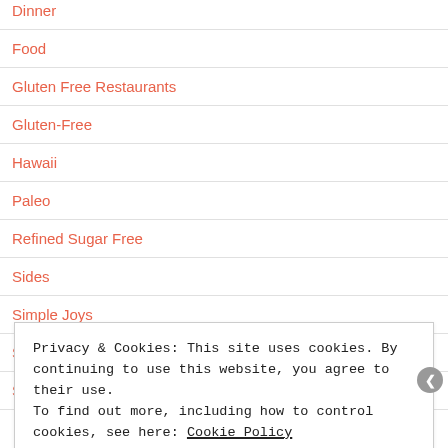Dinner
Food
Gluten Free Restaurants
Gluten-Free
Hawaii
Paleo
Refined Sugar Free
Sides
Simple Joys
Snacks
Sugar-Free
Privacy & Cookies: This site uses cookies. By continuing to use this website, you agree to their use.
To find out more, including how to control cookies, see here: Cookie Policy
Close and accept